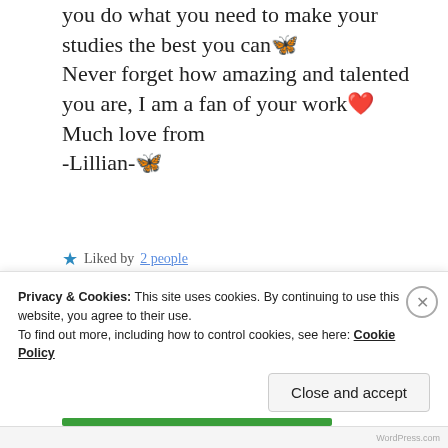you do what you need to make your studies the best you can🦋
Never forget how amazing and talented you are, I am a fan of your work❤️
Much love from
-Lillian-🦋
★ Liked by 2 people
REPLY
Privacy & Cookies: This site uses cookies. By continuing to use this website, you agree to their use. To find out more, including how to control cookies, see here: Cookie Policy
Close and accept